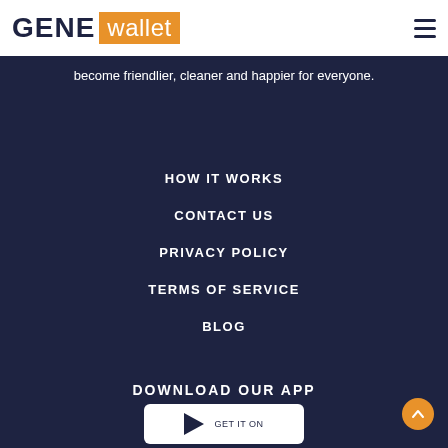GENE wallet
become friendlier, cleaner and happier for everyone.
HOW IT WORKS
CONTACT US
PRIVACY POLICY
TERMS OF SERVICE
BLOG
DOWNLOAD OUR APP
GET IT ON